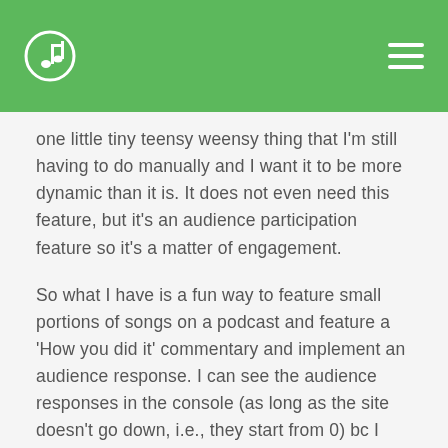one little tiny teensy weensy thing that I'm still having to do manually and I want it to be more dynamic than it is. It does not even need this feature, but it's an audience participation feature so it's a matter of engagement.
So what I have is a fun way to feature small portions of songs on a podcast and feature a 'How you did it' commentary and implement an audience response. I can see the audience responses in the console (as long as the site doesn't go down, i.e., they start from 0) bc I coded the JS to see the responses but I still am where I have to manually feed the count into the chart without paying for a chart service and WithOut screwing up all the other code. I'm trying to connect the 'likes' with the chart to make the chart dynamic.